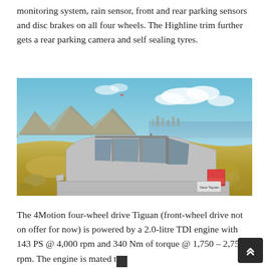monitoring system, rain sensor, front and rear parking sensors and disc brakes on all four wheels. The Highline trim further gets a rear parking camera and self sealing tyres.
[Figure (photo): Volkswagen New Tiguan SUV in silver/grey color, rear three-quarter view, parked on rocky terrain with mountains, water, and sky in the background.]
The 4Motion four-wheel drive Tiguan (front-wheel drive not on offer for now) is powered by a 2.0-litre TDI engine with 143 PS @ 4,000 rpm and 340 Nm of torque @ 1,750 – 2,750 rpm. The engine is mated to a 7-speed DSG dual-clutch automatic gearbox with